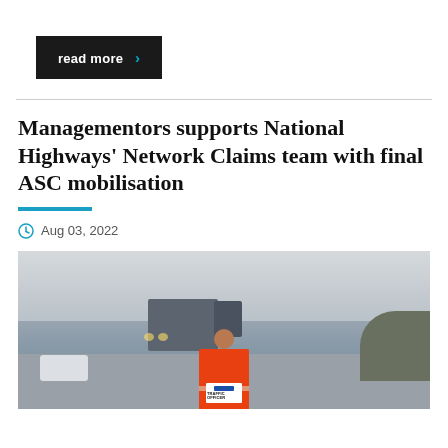read more ›
Managementors supports National Highways' Network Claims team with final ASC mobilisation
Aug 03, 2022
[Figure (photo): A traffic officer in an orange high-visibility vest with 'TRAFFIC OFFICER' label on the back, standing on a highway in wintry conditions with trucks in the background.]